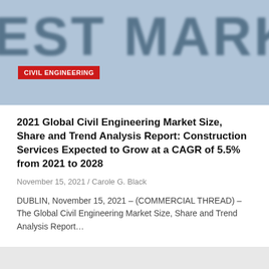[Figure (photo): Blurred/defocused background image showing large bold letters 'EST MARK' in dark blue-gray, forming part of 'BEST MARKET' or similar text, with a red 'CIVIL ENGINEERING' category badge overlaid]
2021 Global Civil Engineering Market Size, Share and Trend Analysis Report: Construction Services Expected to Grow at a CAGR of 5.5% from 2021 to 2028
November 15, 2021 / Carole G. Black
DUBLIN, November 15, 2021 – (COMMERCIAL THREAD) – The Global Civil Engineering Market Size, Share and Trend Analysis Report…
[Figure (photo): Dark gray/charcoal background image section at the bottom of the page, partially visible, with a red button with an arrow icon on the right side]